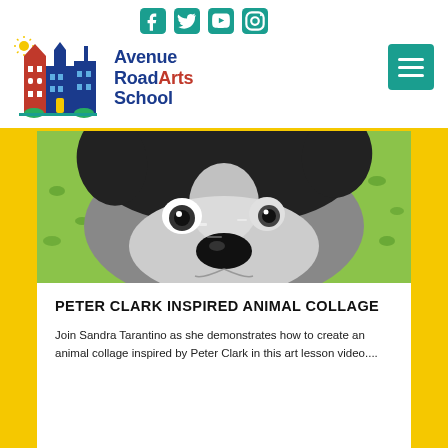[Figure (logo): Avenue Road Arts School logo with a colorful illustrated building, sun, and school name in blue and red text]
[Figure (photo): Close-up painting of a black and white French Bulldog face on a green background, Peter Clark inspired animal collage artwork]
PETER CLARK INSPIRED ANIMAL COLLAGE
Join Sandra Tarantino as she demonstrates how to create an animal collage inspired by Peter Clark in this art lesson video....